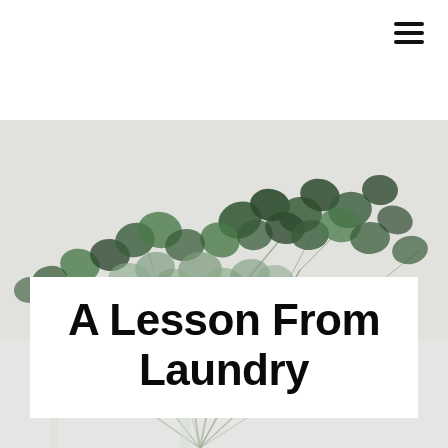[Figure (other): Hamburger menu icon (three horizontal lines) in top right corner]
[Figure (photo): Close-up photograph of eucalyptus branches with round green leaves against a light grey/white background, with glass vases partially visible]
A Lesson From Laundry